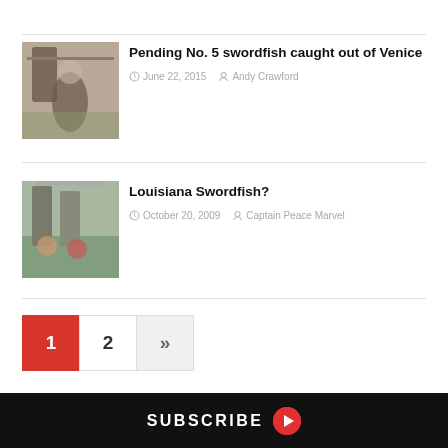[Figure (photo): Photo thumbnail of a person holding a swordfish on a boat]
Pending No. 5 swordfish caught out of Venice
June 22, 2015  Andy Crawford
[Figure (photo): Photo thumbnail of people with a swordfish at a marina]
Louisiana Swordfish?
October 20, 2009  Captain Peace Marvel
1  2  »
SUBSCRIBE